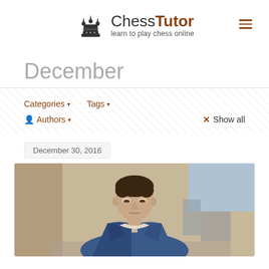ChessTutor — learn to play chess online
December
Categories ▾   Tags ▾   Authors ▾   × Show all
December 30, 2016
[Figure (photo): A young man in a blue blazer sitting at a chess board, looking down thoughtfully, photographed in an indoor setting with blurred background.]